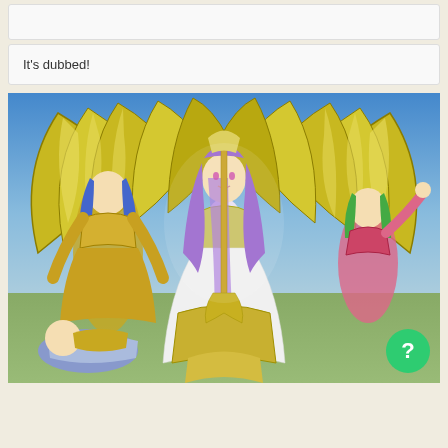It's dubbed!
[Figure (illustration): Anime illustration from Saint Seiya showing armored characters with golden armor and wings. A central female character with long purple hair in white and gold armor holds a staff, flanked by gold-armored warriors. A green circular help button with '?' appears in the bottom right corner.]